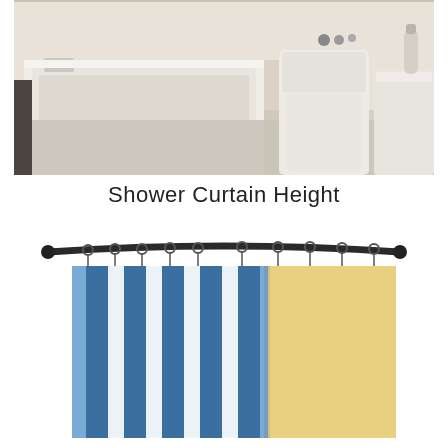[Figure (photo): Overhead view of a white bathroom showing a bathtub, toilet, and sink with toiletries on the counter.]
Shower Curtain Height
[Figure (illustration): Illustration of a shower curtain rod with rings holding two curtain panels: one blue and white striped panel on the left, and one solid yellow panel on the right.]